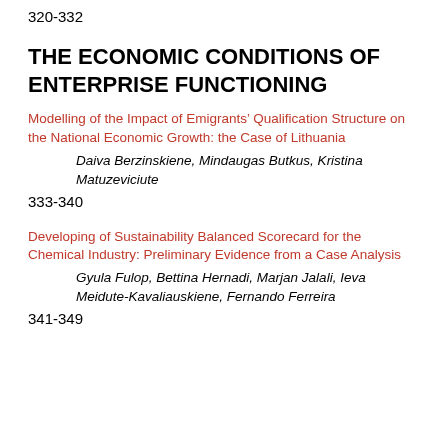320-332
THE ECONOMIC CONDITIONS OF ENTERPRISE FUNCTIONING
Modelling of the Impact of Emigrants' Qualification Structure on the National Economic Growth: the Case of Lithuania
Daiva Berzinskiene, Mindaugas Butkus, Kristina Matuzeviciute
333-340
Developing of Sustainability Balanced Scorecard for the Chemical Industry: Preliminary Evidence from a Case Analysis
Gyula Fulop, Bettina Hernadi, Marjan Jalali, Ieva Meidute-Kavaliauskiene, Fernando Ferreira
341-349